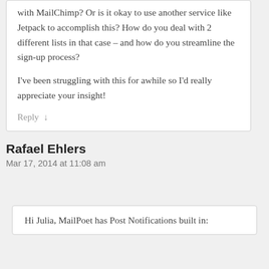with MailChimp? Or is it okay to use another service like Jetpack to accomplish this? How do you deal with 2 different lists in that case – and how do you streamline the sign-up process?
I've been struggling with this for awhile so I'd really appreciate your insight!
Reply ↓
Rafael Ehlers
Mar 17, 2014 at 11:08 am
Hi Julia, MailPoet has Post Notifications built in: